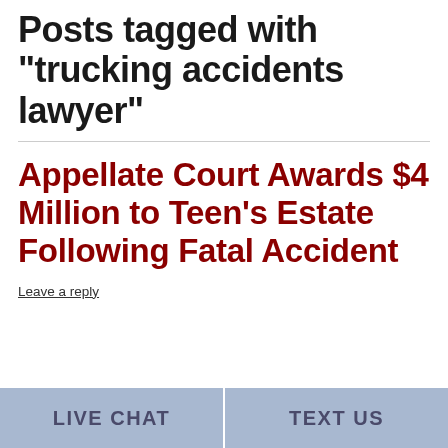Posts tagged with "trucking accidents lawyer"
Appellate Court Awards $4 Million to Teen's Estate Following Fatal Accident
Leave a reply
LIVE CHAT | TEXT US